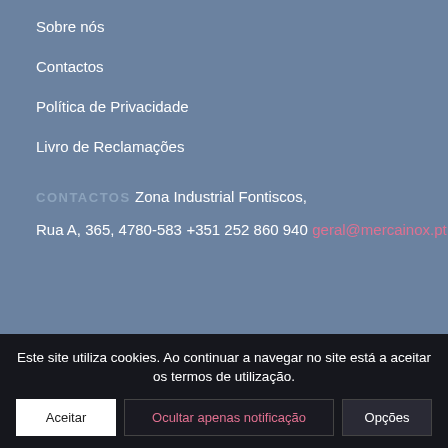Sobre nós
Contactos
Política de Privacidade
Livro de Reclamações
CONTACTOS
Zona Industrial Fontiscos,
Rua A, 365, 4780-583
+351 252 860 940
geral@mercainox.pt
Este site utiliza cookies. Ao continuar a navegar no site está a aceitar os termos de utilização.
Aceitar
Ocultar apenas notificação
Opções